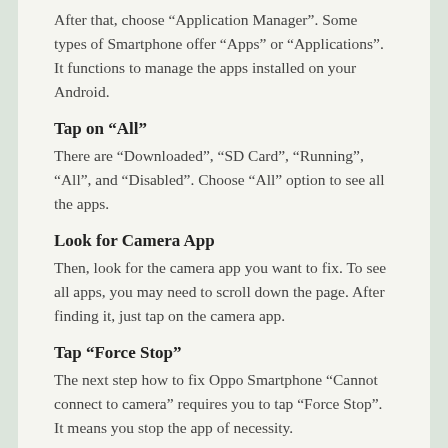After that, choose “Application Manager”. Some types of Smartphone offer “Apps” or “Applications”. It functions to manage the apps installed on your Android.
Tap on “All”
There are “Downloaded”, “SD Card”, “Running”, “All”, and “Disabled”. Choose “All” option to see all the apps.
Look for Camera App
Then, look for the camera app you want to fix. To see all apps, you may need to scroll down the page. After finding it, just tap on the camera app.
Tap “Force Stop”
The next step how to fix Oppo Smartphone “Cannot connect to camera” requires you to tap “Force Stop”. It means you stop the app of necessity.
Tap “Clear Data”
Besides forcing it stop, you need to tap “Clear Data”. It functions to clear data used from camera app.